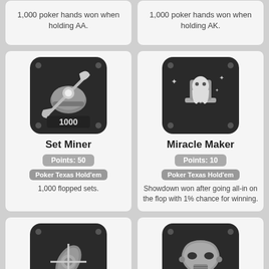1,000 poker hands won when holding AA.
1,000 poker hands won when holding AK.
[Figure (illustration): Set Miner achievement badge: pickaxe and mining helmet icon with '1000' label on dark circular background]
Set Miner
Points: 50
Poker Texas Hold'em
1,000 flopped sets.
[Figure (illustration): Miracle Maker achievement badge: ghost/spirit figure with top hat on dark circular background]
Miracle Maker
Points: 10
Poker Texas Hold'em
Showdown won after going all-in on the flop with 1% chance for winning.
[Figure (illustration): Poker Torpedo achievement badge: torpedo/mechanical object icon on dark circular background]
Poker Torpedo
[Figure (illustration): Tourney Maniac achievement badge: mask/face icon on dark circular background]
Tourney Maniac